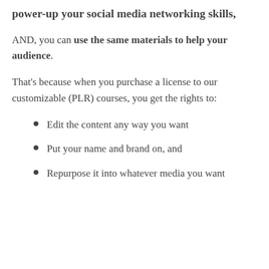power-up your social media networking skills,
AND, you can use the same materials to help your audience.
That's because when you purchase a license to our customizable (PLR) courses, you get the rights to:
Edit the content any way you want
Put your name and brand on, and
Repurpose it into whatever media you want